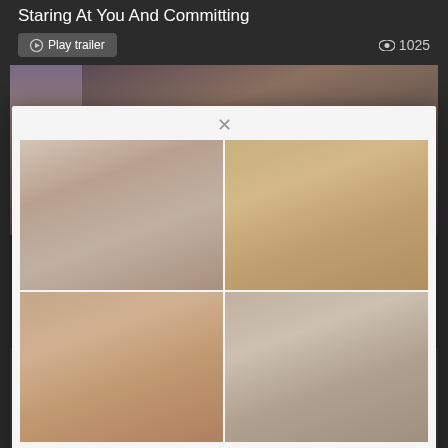Staring At You And Committing
Play trailer   1025
[Figure (screenshot): Website screenshot showing a modal dialog with four image thumbnails arranged in a 2x2 grid over a darker background with a video thumbnail strip]
SSIS- ... om
Ntr Ap...
Fucked ...